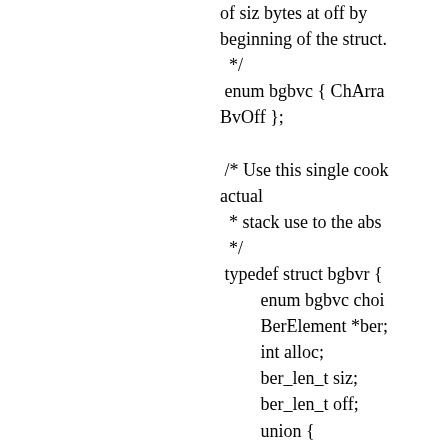of siz bytes at off by beginning of the struct.
 */
 enum bgbvc { ChArray,
 BvOff };

 /* Use this single cook actual
  * stack use to the abso
  */
 typedef struct bgbvr {
         enum bgbvc choi
         BerElement *ber;
         int alloc;
         ber_len_t siz;
         ber_len_t off;
         union {
                 char ***c;
                 BerVarray *b
                 struct berval
         } res;
 } bgbvr;

 static ber_tag_t
 ber_get_stringbvl( bgb
 )